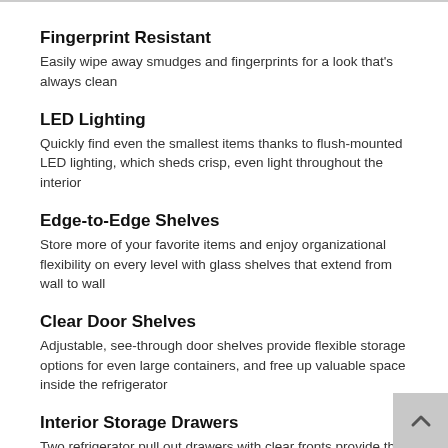Fingerprint Resistant
Easily wipe away smudges and fingerprints for a look that's always clean
LED Lighting
Quickly find even the smallest items thanks to flush-mounted LED lighting, which sheds crisp, even light throughout the interior
Edge-to-Edge Shelves
Store more of your favorite items and enjoy organizational flexibility on every level with glass shelves that extend from wall to wall
Clear Door Shelves
Adjustable, see-through door shelves provide flexible storage options for even large containers, and free up valuable space inside the refrigerator
Interior Storage Drawers
Two refrigerator pull out drawers with clear fronts provide the perfect, sealed environment to keep your produce